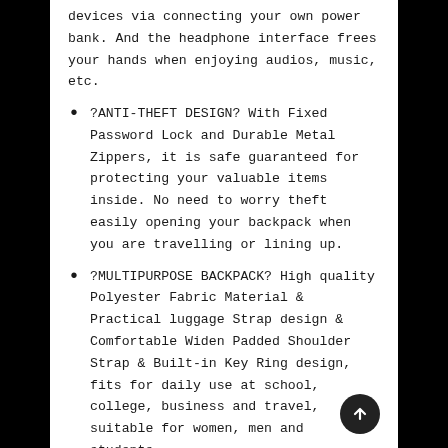devices via connecting your own power bank. And the headphone interface frees your hands when enjoying audios, music, etc.
?ANTI-THEFT DESIGN? With Fixed Password Lock and Durable Metal Zippers, it is safe guaranteed for protecting your valuable items inside. No need to worry theft easily opening your backpack when you are travelling or lining up.
?MULTIPURPOSE BACKPACK? High quality Polyester Fabric Material & Practical luggage Strap design & Comfortable Widen Padded Shoulder Strap & Built-in Key Ring design, fits for daily use at school, college, business and travel, suitable for women, men and students.